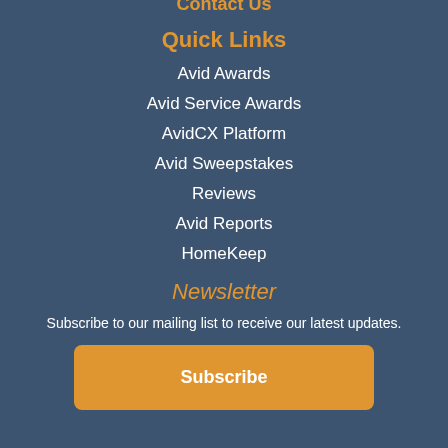Contact Us
Quick Links
Avid Awards
Avid Service Awards
AvidCX Platform
Avid Sweepstakes
Reviews
Avid Reports
HomeKeep
Newsletter
Subscribe to our mailing list to receive our latest updates.
Subscribe